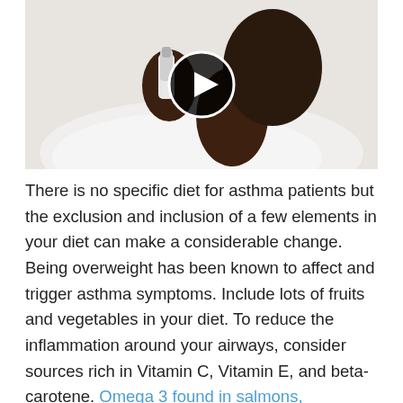[Figure (photo): A man lying down using an asthma inhaler, with a video play button overlay]
There is no specific diet for asthma patients but the exclusion and inclusion of a few elements in your diet can make a considerable change. Being overweight has been known to affect and trigger asthma symptoms. Include lots of fruits and vegetables in your diet. To reduce the inflammation around your airways, consider sources rich in Vitamin C, Vitamin E, and beta-carotene. Omega 3 found in salmons, mackerels are also known to help with inflammation. If any particular food seems to make your symptoms much worse, make a note and avoid consuming it.